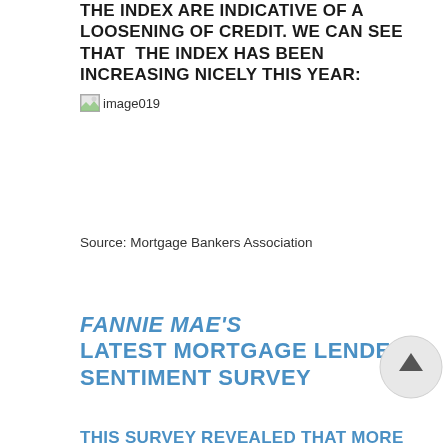THE INDEX ARE INDICATIVE OF A LOOSENING OF CREDIT. WE CAN SEE THAT THE INDEX HAS BEEN INCREASING NICELY THIS YEAR:
[Figure (other): Placeholder image labeled 'image019' showing a broken/missing image icon]
Source: Mortgage Bankers Association
FANNIE MAE'S LATEST MORTGAGE LENDER SENTIMENT SURVEY
THIS SURVEY REVEALED THAT MORE